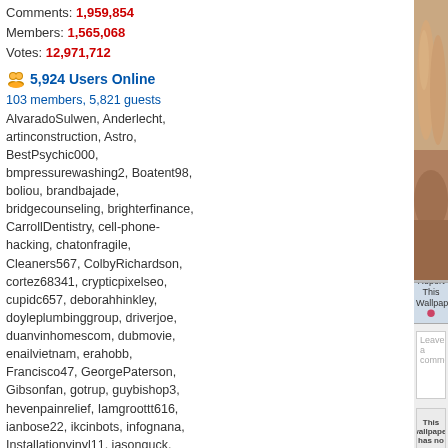Comments: 1,959,854
Members: 1,565,068
Votes: 12,971,712
5,924 Users Online
103 members, 5,821 guests
AlvaradoSulwen, Anderlecht, artinconstruction, Astro, BestPsychic000, bmpressurewashing2, Boatent98, boliou, brandbajade, bridgecounseling, brighterfinance, CarrollDentistry, cell-phone-hacking, chatonfragile, Cleaners567, ColbyRichardson, cortez68341, crypticpixelseo, cupidc657, deborahhinkley, doyleplumbinggroup, driverjoe, duanvinhomescom, dubmovie, enailvietnam, erahobb, Francisco47, GeorgePaterson, Gibsonfan, gotrup, guybishop3, hevenpainrelief, Iamgroottt616, ianbose22, ikcinbots, infognana, Installationvinyl11, jasonguck, JokersStash, josephfirarae, jun8888, KayaXu8, khungnhomkinhvietphon..., kinggohan, Lalina, Lamamake, leonbetappin, lertuiosq, lilla811, lirikmerch, maayash, macthanhvu, marquisbarkley, mayapatil281995, McKinneysTX, mikepaxson, missshweta, mistydaydream1, mod.CG, modzoro, mumtazdental, now888today, phaesis777
[Figure (photo): Partial view of a person sitting on a brown leather couch/sofa, legs visible]
Report This Wallpaper
Add To F
Leave a comment...
This wallpaper has no comm